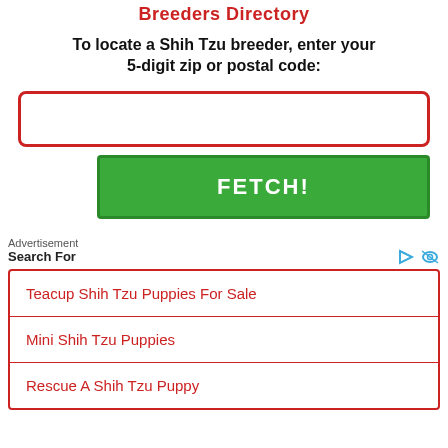Breeders Directory
To locate a Shih Tzu breeder, enter your 5-digit zip or postal code:
[Figure (other): Text input field with red border for zip or postal code entry]
[Figure (other): Green FETCH! button]
Advertisement
Search For
Teacup Shih Tzu Puppies For Sale
Mini Shih Tzu Puppies
Rescue A Shih Tzu Puppy